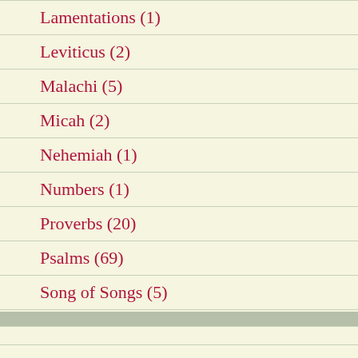Lamentations (1)
Leviticus (2)
Malachi (5)
Micah (2)
Nehemiah (1)
Numbers (1)
Proverbs (20)
Psalms (69)
Song of Songs (5)
Zechariah (1)